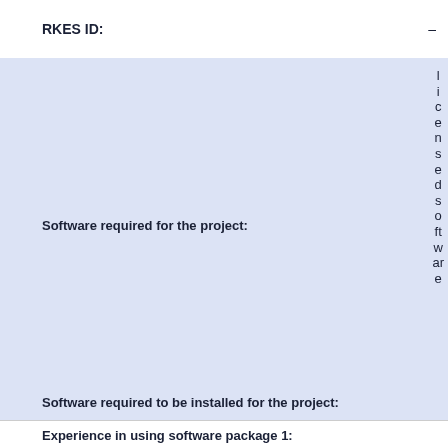RKES ID: –
Software required for the project:
licensed software
Software required to be installed for the project:
PZFlex
Experience in using software package 1: